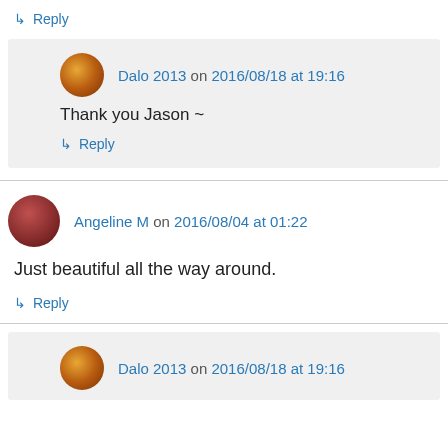↳ Reply
Dalo 2013 on 2016/08/18 at 19:16
Thank you Jason ~
↳ Reply
Angeline M on 2016/08/04 at 01:22
Just beautiful all the way around.
↳ Reply
Dalo 2013 on 2016/08/18 at 19:16